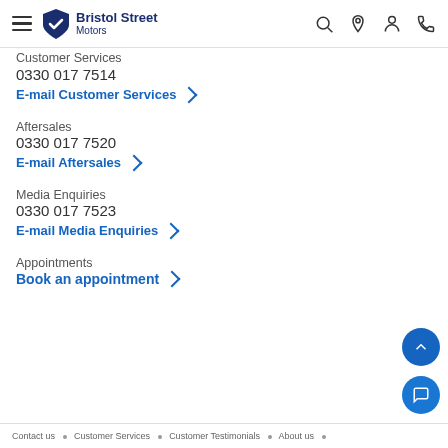Bristol Street Motors
Customer Services
0330 017 7514
E-mail Customer Services
Aftersales
0330 017 7520
E-mail Aftersales
Media Enquiries
0330 017 7523
E-mail Media Enquiries
Appointments
Book an appointment
Contact us • Customer Services • Customer Testimonials • About us •